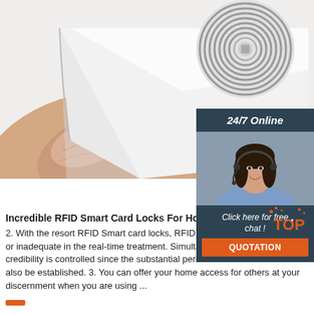[Figure (photo): Close-up photo of a hand peeling back a white RFID smart card sticker, revealing the circular antenna coil underneath. The background is white.]
[Figure (photo): Sidebar advertisement showing a woman with a headset smiling, labeled 24/7 Online with a Chat and Quotation button.]
Incredible RFID Smart Card Locks For Hotel Doors,
2. With the resort RFID Smart card locks, RFID card lock can be reputable or inadequate in the real-time treatment. Simultaneously, the RFID card's credibility is controlled since the substantial period of the RFID card can also be established. 3. You can offer your home access for others at your discernment when you are using ...